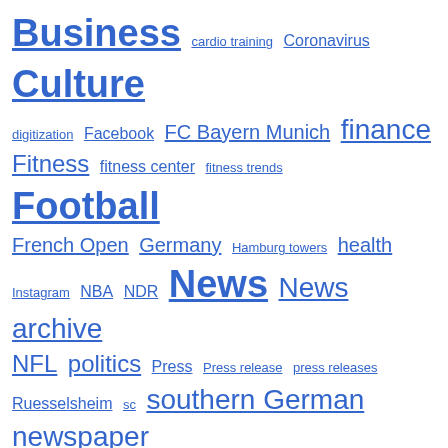[Figure (other): Tag cloud with various topic links in different font sizes, all in blue underlined text: Business, cardio training, Coronavirus, Culture, digitization, Facebook, FC Bayern Munich, finance, Fitness, fitness center, fitness trends, Football, French Open, Germany, Hamburg towers, health, Instagram, NBA, NDR, News, News archive, NFL, politics, Press, Press release, press releases, Ruesselsheim, sc, southern German newspaper, Sport, Sports US, Sports NFL, tennis, trip, tv]
We use cookies on our website to give you the most relevant experience by remembering your preferences and repeat visits. By clicking “Accept All”, you consent to the use of ALL the cookies. However, you may visit "Cookie Settings" to provide a controlled consent.